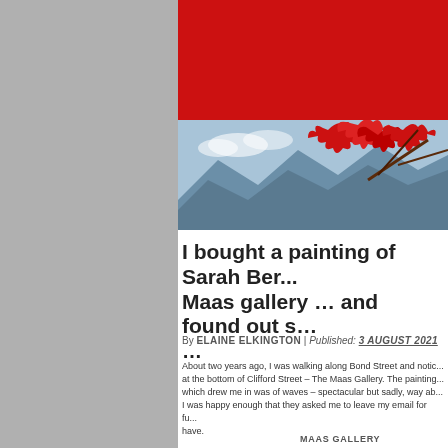[Figure (photo): Red banner header with dark red/crimson background at top of webpage]
[Figure (photo): Photograph of red maple leaves against a blue sky with mountains in background]
I bought a painting of Sarah Ber... Maas gallery … and found out s… …
By ELAINE ELKINGTON | Published: 3 AUGUST 2021
About two years ago, I was walking along Bond Street and notic... at the bottom of Clifford Street – The Maas Gallery. The painting... which drew me in was of waves – spectacular but sadly, way ab... I was happy enough that they asked me to leave my email for fu... have.
MAAS GALLERY